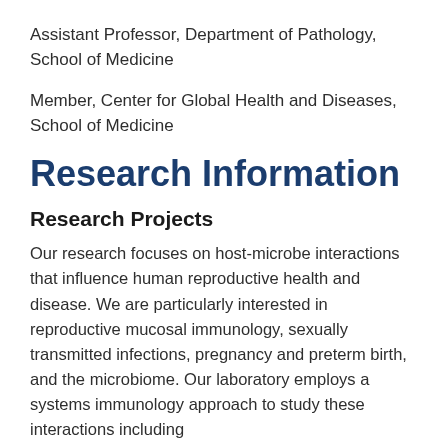Assistant Professor, Department of Pathology, School of Medicine
Member, Center for Global Health and Diseases, School of Medicine
Research Information
Research Projects
Our research focuses on host-microbe interactions that influence human reproductive health and disease. We are particularly interested in reproductive mucosal immunology, sexually transmitted infections, pregnancy and preterm birth, and the microbiome. Our laboratory employs a systems immunology approach to study these interactions including